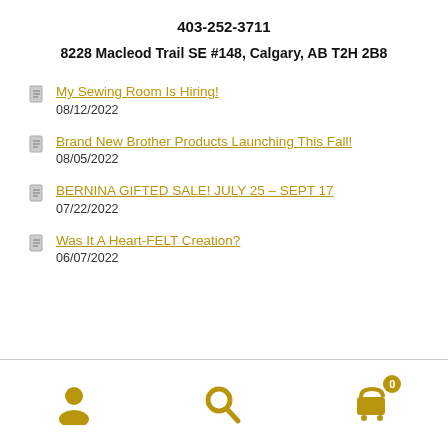403-252-3711
8228 Macleod Trail SE #148, Calgary, AB T2H 2B8
My Sewing Room Is Hiring!
08/12/2022
Brand New Brother Products Launching This Fall!
08/05/2022
BERNINA GIFTED SALE! JULY 25 – SEPT 17
07/22/2022
Was It A Heart-FELT Creation?
06/07/2022
User | Search | Cart (0)